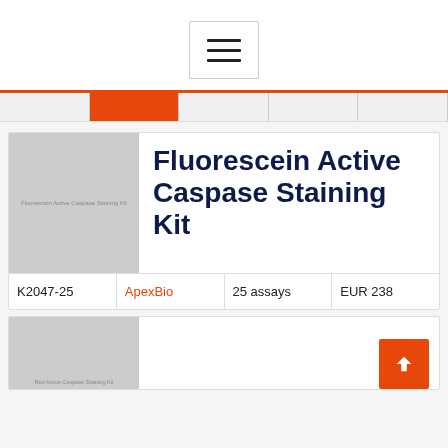[Figure (screenshot): Hamburger menu icon button with three horizontal lines inside a bordered box]
[Figure (screenshot): Navigation strip with multiple tab items, one highlighted in orange]
[Figure (photo): Product image placeholder showing Fluorescein Active Caspase Staining Kit, gray box with small text]
Fluorescein Active Caspase Staining Kit
| K2047-25 | ApexBio | 25 assays | EUR 238 |
| --- | --- | --- | --- |
[Figure (photo): Partial product image placeholder for a second product card, gray box with small text]